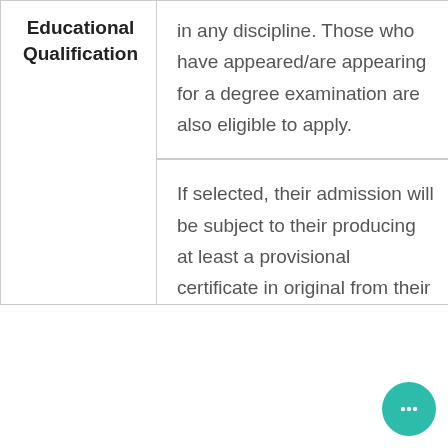| Educational Qualification | Details |
| --- | --- |
| Educational Qualification | in any discipline. Those who have appeared/are appearing for a degree examination are also eligible to apply. |
|  | If selected, their admission will be subject to their producing at least a provisional certificate in original from their |